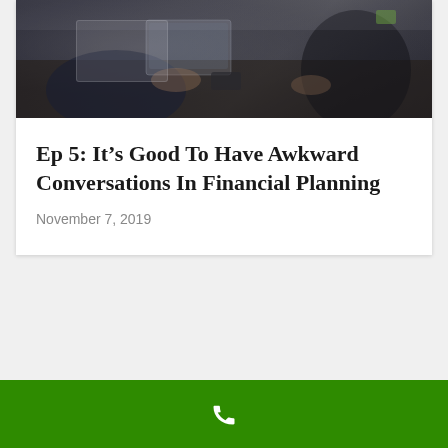[Figure (photo): Two people sitting at a dark wooden table with laptops, engaged in a business meeting. One person in a dark suit with a laptop open, another person in black clothing visible at right.]
Ep 5: It’s Good To Have Awkward Conversations In Financial Planning
November 7, 2019
[Figure (other): Green bar at bottom with white phone/call icon]